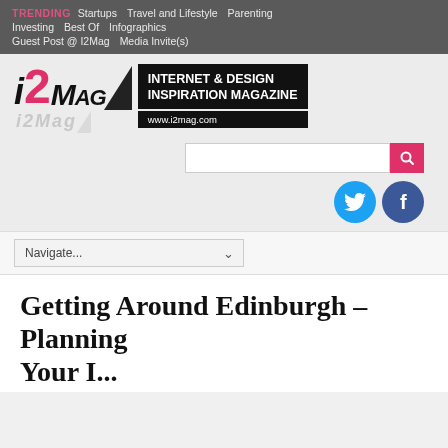TRENDING  Startups  Travel and Lifestyle  Parenting  Investing  Best Of  Infographics  Guest Post @ I2Mag  Media Invite(s)
[Figure (logo): i2Mag logo with text INTERNET & DESIGN INSPIRATION MAGAZINE and www.i2mag.com]
[Figure (screenshot): Search bar with pink search button, Twitter and Facebook social icons]
Navigate...
Getting Around Edinburgh – Planning Your I...